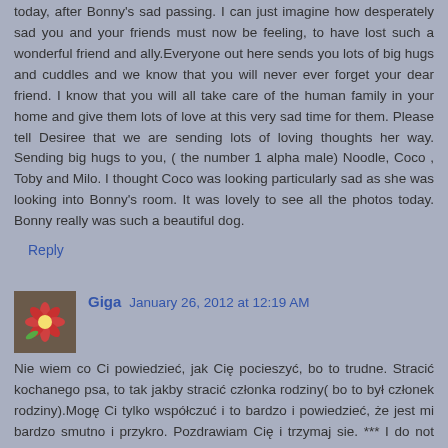today, after Bonny's sad passing. I can just imagine how desperately sad you and your friends must now be feeling, to have lost such a wonderful friend and ally.Everyone out here sends you lots of big hugs and cuddles and we know that you will never ever forget your dear friend. I know that you will all take care of the human family in your home and give them lots of love at this very sad time for them. Please tell Desiree that we are sending lots of loving thoughts her way. Sending big hugs to you, ( the number 1 alpha male) Noodle, Coco , Toby and Milo. I thought Coco was looking particularly sad as she was looking into Bonny's room. It was lovely to see all the photos today. Bonny really was such a beautiful dog.
Reply
Giga  January 26, 2012 at 12:19 AM
Nie wiem co Ci powiedzieć, jak Cię pocieszyć, bo to trudne. Stracić kochanego psa, to tak jakby stracić członka rodziny( bo to był członek rodziny).Mogę Ci tylko współczuć i to bardzo i powiedzieć, że jest mi bardzo smutno i przykro. Pozdrawiam Cię i trzymaj sie. *** I do not know what to tell